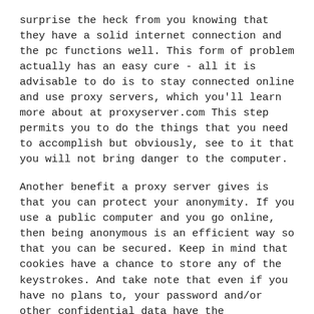surprise the heck from you knowing that they have a solid internet connection and the pc functions well. This form of problem actually has an easy cure - all it is advisable to do is to stay connected online and use proxy servers, which you'll learn more about at proxyserver.com This step permits you to do the things that you need to accomplish but obviously, see to it that you will not bring danger to the computer.
Another benefit a proxy server gives is that you can protect your anonymity. If you use a public computer and you go online, then being anonymous is an efficient way so that you can be secured. Keep in mind that cookies have a chance to store any of the keystrokes. And take note that even if you have no plans to, your password and/or other confidential data have the possibility to become stored immediately on the default browser. When you use proxy servers, the one who will use the public computer right after you will have no possible opportunity to trace your internet history.